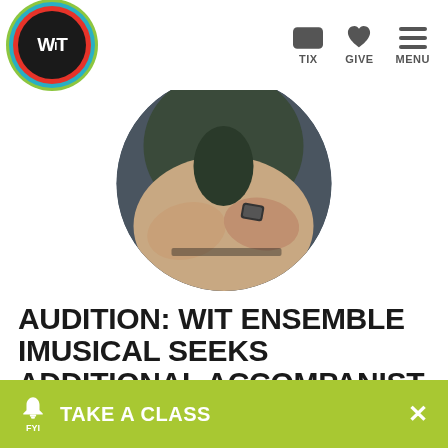WIT | TIX | GIVE | MENU
[Figure (photo): Circular cropped photo of a person's hands playing piano, wearing a watch and ring, viewed from above]
AUDITION: WIT ENSEMBLE IMUSICAL SEEKS ADDITIONAL ACCOMPANIST
JANUARY 17, 2019
The accompanist would work alongside
TAKE A CLASS